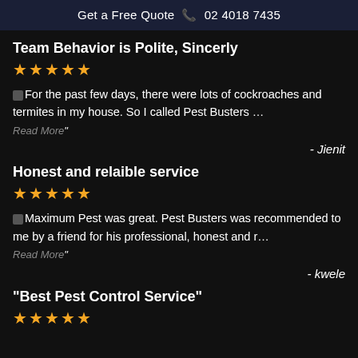Get a Free Quote  02 4018 7435
Team Behavior is Polite, Sincerly
★★★★★
For the past few days, there were lots of cockroaches and termites in my house. So I called Pest Busters … Read More"
- Jienit
Honest and relaible service
★★★★★
Maximum Pest was great. Pest Busters was recommended to me by a friend for his professional, honest and r… Read More"
- kwele
"Best Pest Control Service"
★★★★★